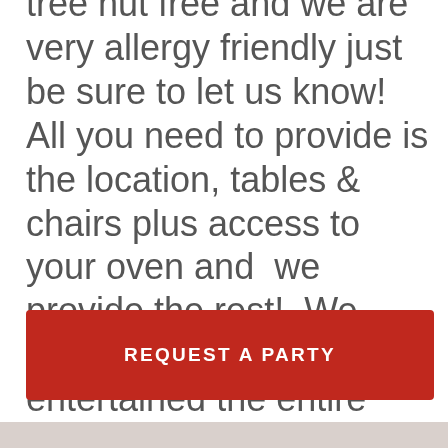tree nut free and we are very allergy friendly just be sure to let us know! All you need to provide is the location, tables & chairs plus access to your oven and we provide the rest! We promise to keep the kids entertained the entire time and we clean it all up when we are done! It's the best no mess, no stress party you could ask for!
REQUEST A PARTY